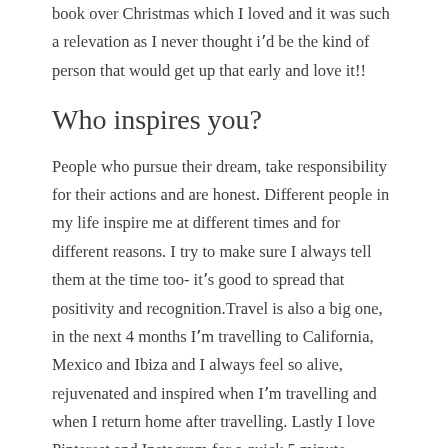book over Christmas which I loved and it was such a relevation as I never thought i'd be the kind of person that would get up that early and love it!!
Who inspires you?
People who pursue their dream, take responsibility for their actions and are honest. Different people in my life inspire me at different times and for different reasons. I try to make sure I always tell them at the time too- it's good to spread that positivity and recognition.Travel is also a big one, in the next 4 months I'm travelling to California, Mexico and Ibiza and I always feel so alive, rejuvenated and inspired when I'm travelling and when I return home after travelling. Lastly I love Pinterest and Instagram for a quick 5 minute inspiration search- not necessarily just for work but for a new recipe/ activity/ or some styling/ garden